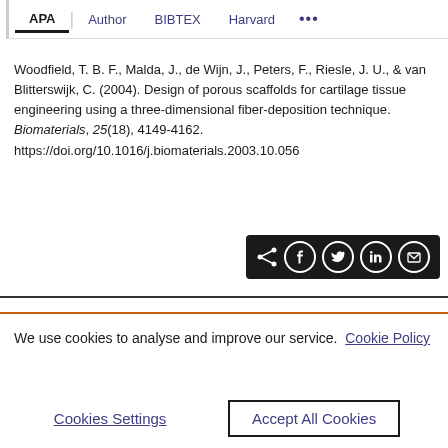APA | Author | BIBTEX | Harvard | ...
Woodfield, T. B. F., Malda, J., de Wijn, J., Peters, F., Riesle, J. U., & van Blitterswijk, C. (2004). Design of porous scaffolds for cartilage tissue engineering using a three-dimensional fiber-deposition technique. Biomaterials, 25(18), 4149-4162. https://doi.org/10.1016/j.biomaterials.2003.10.056
[Figure (other): Social share bar with icons for share, Facebook, Twitter, LinkedIn, and email on a black background]
We use cookies to analyse and improve our service. Cookie Policy
Cookies Settings | Accept All Cookies